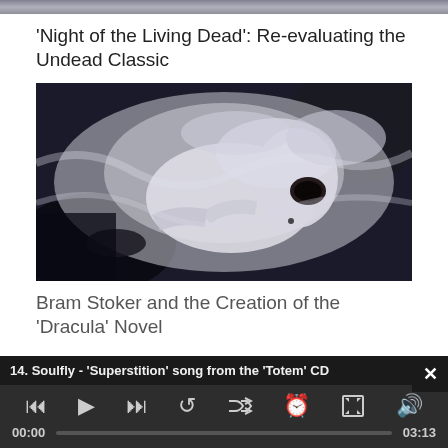[Figure (photo): Top strip of an image, partially cropped at the top of the page]
'Night of the Living Dead': Re-evaluating the Undead Classic
[Figure (photo): A dramatic photo of a pale woman with white/grey hair lying down with mouth open, surrounded by white gauzy fabric, dark background]
Bram Stoker and the Creation of the 'Dracula' Novel
14. Soulfly - 'Superstition' song from the 'Totem' CD
00:00
03:13